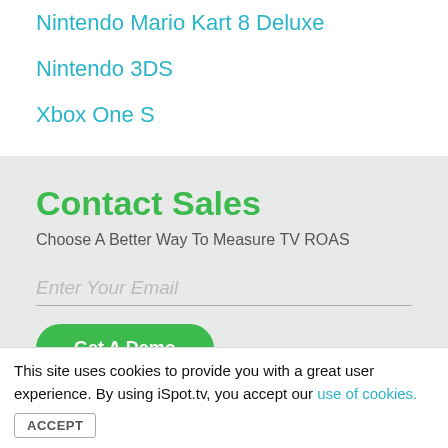Nintendo Mario Kart 8 Deluxe
Nintendo 3DS
Xbox One S
Contact Sales
Choose A Better Way To Measure TV ROAS
Enter Your Email
Get A Demo
This site uses cookies to provide you with a great user experience. By using iSpot.tv, you accept our use of cookies.
ACCEPT